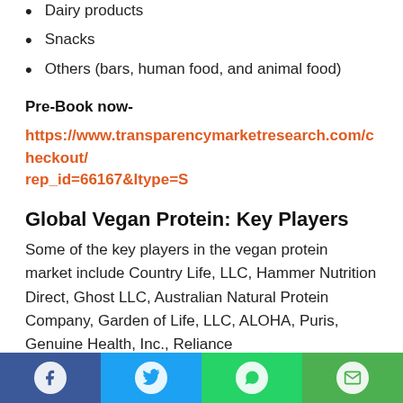Dairy products
Snacks
Others (bars, human food, and animal food)
Pre-Book now-
https://www.transparencymarketresearch.com/checkout/rep_id=66167&ltype=S
Global Vegan Protein: Key Players
Some of the key players in the vegan protein market include Country Life, LLC, Hammer Nutrition Direct, Ghost LLC, Australian Natural Protein Company, Garden of Life, LLC, ALOHA, Puris, Genuine Health, Inc., Reliance Private Limited and others...
Social share bar: Facebook, Twitter, WhatsApp, Email